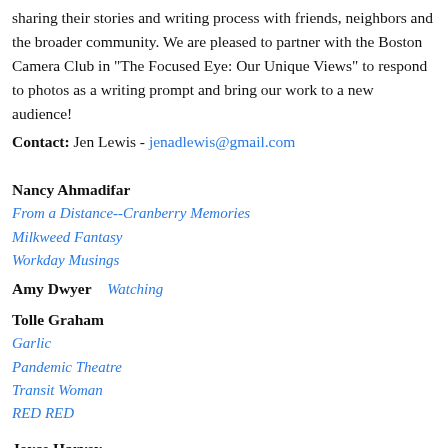sharing their stories and writing process with friends, neighbors and the broader community. We are pleased to partner with the Boston Camera Club in "The Focused Eye: Our Unique Views" to respond to photos as a writing prompt and bring our work to a new audience!
Contact: Jen Lewis - jenadlewis@gmail.com
Nancy Ahmadifar
From a Distance--Cranberry Memories
Milkweed Fantasy
Workday Musings
Amy Dwyer
Watching
Tolle Graham
Garlic
Pandemic Theatre
Transit Woman
RED RED
Joyce Harvey
Decisions (l...